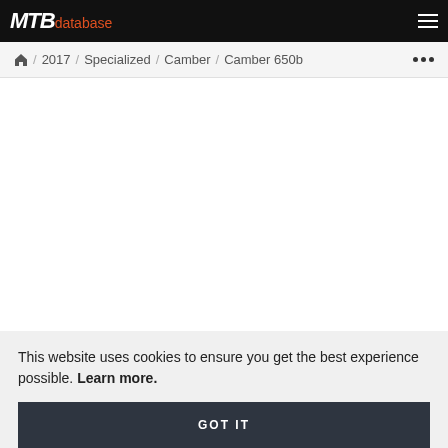MTB database
/ 2017 / Specialized / Camber / Camber 650b
This website uses cookies to ensure you get the best experience possible. Learn more.
GOT IT